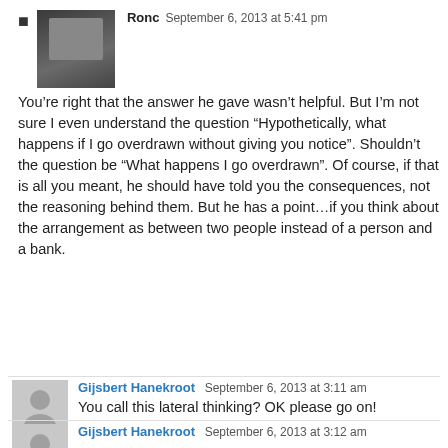Ronc  September 6, 2013 at 5:41 pm
You’re right that the answer he gave wasn’t helpful. But I’m not sure I even understand the question “Hypothetically, what happens if I go overdrawn without giving you notice”. Shouldn’t the question be “What happens I go overdrawn”. Of course, if that is all you meant, he should have told you the consequences, not the reasoning behind them. But he has a point…if you think about the arrangement as between two people instead of a person and a bank.
Gijsbert Hanekroot  September 6, 2013 at 3:11 am
You call this lateral thinking? OK please go on!
Gijsbert Hanekroot  September 6, 2013 at 3:12 am